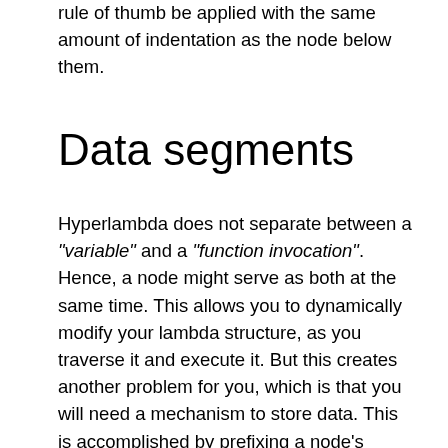rule of thumb be applied with the same amount of indentation as the node below them.
Data segments
Hyperlambda does not separate between a "variable" and a "function invocation". Hence, a node might serve as both at the same time. This allows you to dynamically modify your lambda structure, as you traverse it and execute it. But this creates another problem for you, which is that you will need a mechanism to store data. This is accomplished by prefixing a node's name with a . character, at which point the Hyperlambda evaluator will ignore it, as it is traversing your tree, and not attempt to signal that particular node as a slot. Think of all nodes starting with a . character as "data segments", or variables for that matter. Below is an example where [eval] will simply ignore the [.src] node and the [.dest] node, not